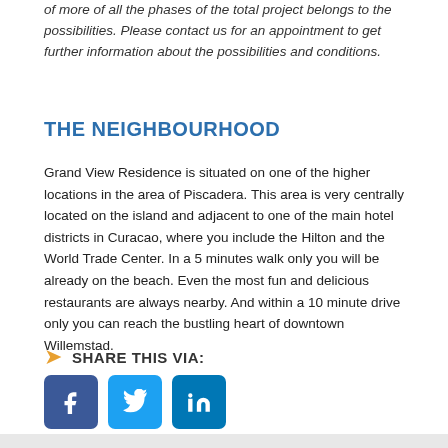of more of all the phases of the total project belongs to the possibilities. Please contact us for an appointment to get further information about the possibilities and conditions.
THE NEIGHBOURHOOD
Grand View Residence is situated on one of the higher locations in the area of Piscadera. This area is very centrally located on the island and adjacent to one of the main hotel districts in Curacao, where you include the Hilton and the World Trade Center. In a 5 minutes walk only you will be already on the beach. Even the most fun and delicious restaurants are always nearby. And within a 10 minute drive only you can reach the bustling heart of downtown Willemstad.
SHARE THIS VIA:
[Figure (other): Social media share buttons: Facebook (blue square with f), Twitter (cyan square with bird), LinkedIn (teal square with in)]